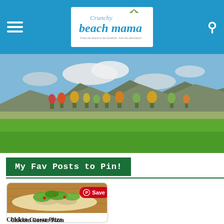Crunchy Beach Mama — From the beach to the foothills. Join the adventure!
[Figure (photo): Outdoor park scene with green grass field in foreground, colorful autumn trees (red, orange, yellow) in middle ground, and mountain ridge under partly cloudy sky in background.]
My Fav Posts to Pin!
[Figure (photo): Flatbread pizza topped with chicken, Caesar dressing, and fresh arugula/greens on a wooden cutting board. Has a red Pinterest Save button overlay.]
Chicken Caesar Pizza